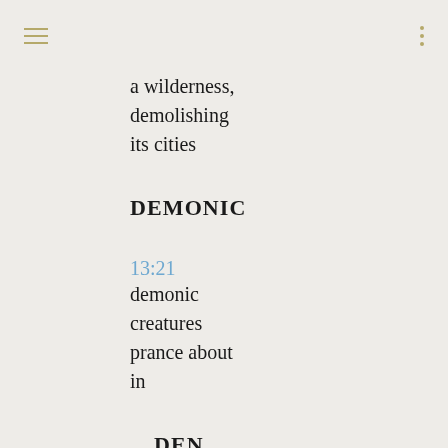≡  ⋮
a wilderness,
demolishing
its cities
DEMONIC
13:21
demonic
creatures
prance about
in
DEN
11:8
will play
near the
adder's den,
and
DENOUNCE